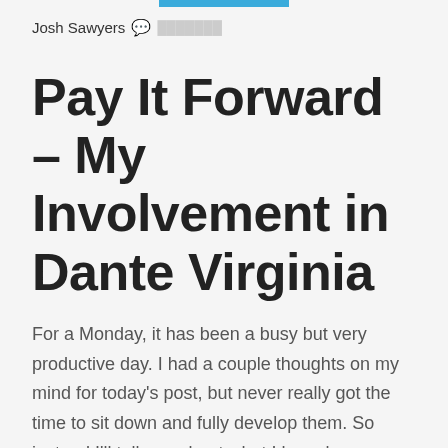Josh Sawyers
Pay It Forward – My Involvement in Dante Virginia
For a Monday, it has been a busy but very productive day. I had a couple thoughts on my mind for today's post, but never really got the time to sit down and fully develop them. So instead I'll tell you about what I have been